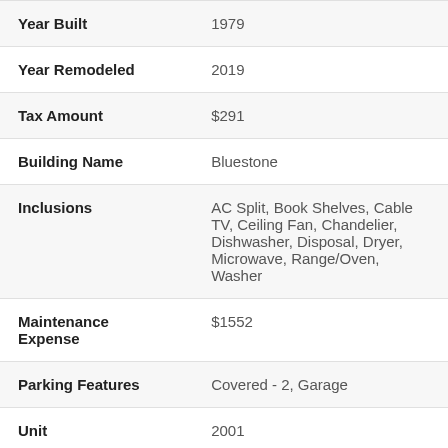| Field | Value |
| --- | --- |
| Year Built | 1979 |
| Year Remodeled | 2019 |
| Tax Amount | $291 |
| Building Name | Bluestone |
| Inclusions | AC Split, Book Shelves, Cable TV, Ceiling Fan, Chandelier, Dishwasher, Disposal, Dryer, Microwave, Range/Oven, Washer |
| Maintenance Expense | $1552 |
| Parking Features | Covered - 2, Garage |
| Unit | 2001 |